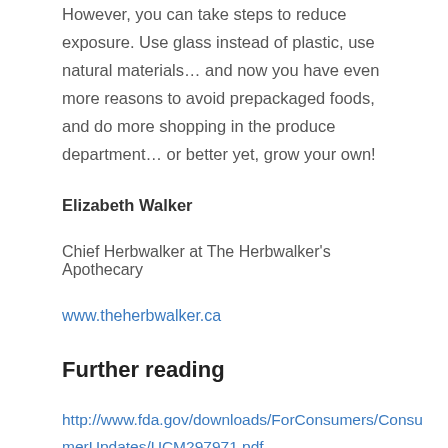However, you can take steps to reduce exposure. Use glass instead of plastic, use natural materials… and now you have even more reasons to avoid prepackaged foods, and do more shopping in the produce department… or better yet, grow your own!
Elizabeth Walker
Chief Herbwalker at The Herbwalker's Apothecary
www.theherbwalker.ca
Further reading
http://www.fda.gov/downloads/ForConsumers/ConsumerUpdates/UCM297971.pdf